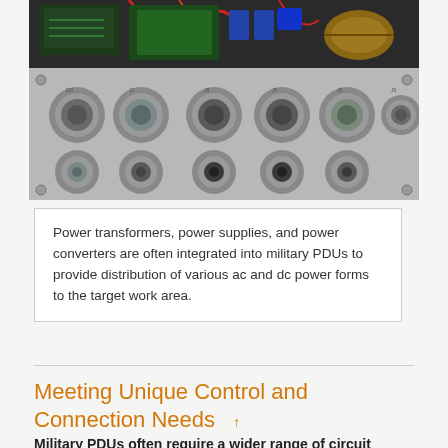[Figure (photo): Photo of a military power distribution unit (PDU) rack panel showing multiple circular military-grade connectors arranged in two rows on an aluminum panel, with internal electronics visible at the top including circuit boards, wiring, and capacitors.]
Power transformers, power supplies, and power converters are often integrated into military PDUs to provide distribution of various ac and dc power forms to the target work area.
Meeting Unique Control and Connection Needs
Military PDUs often require a wider range of circuit designs, control features, power monitoring, and even remote management capabilities. Most commodity